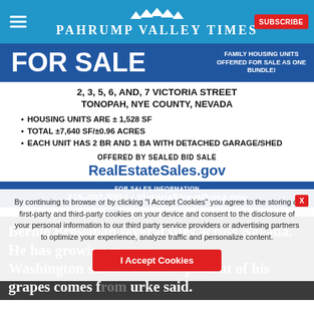Pahrump Valley Times
[Figure (infographic): GSA For Sale advertisement for family housing units at 2, 3, 5, 6, and 7 Victoria Street, Tonopah, Nye County, Nevada. Housing units are ±1,528 SF; Total ±7,640 SF/±0.96 Acres; Each unit has 2 BR and 1 BA with detached garage/shed. Offered by sealed bid sale at RealEstateSales.gov. For sales information: 415-407-5304 • VictoriaStreet@gsa.gov]
Bernie Brossman several sites across Nevada. He has growing grapes. Washington state. About 70 percent of his grapes comes from Burke said.